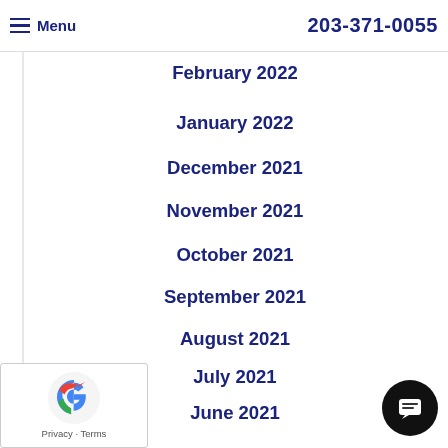Menu  203-371-0055
February 2022
January 2022
December 2021
November 2021
October 2021
September 2021
August 2021
July 2021
June 2021
May 2021
April 2021
March 2021